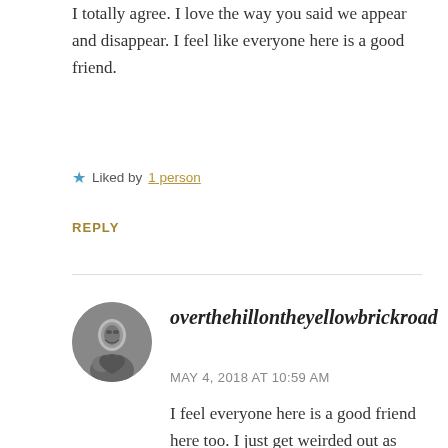I totally agree. I love the way you said we appear and disappear. I feel like everyone here is a good friend.
★ Liked by 1 person
REPLY
overthehillontheyellowbrickroad
MAY 4, 2018 AT 10:59 AM
I feel everyone here is a good friend here too. I just get weirded out as soon as I flick off my screen. You know, this might be the beginning of a great script for a horror movie. LOL